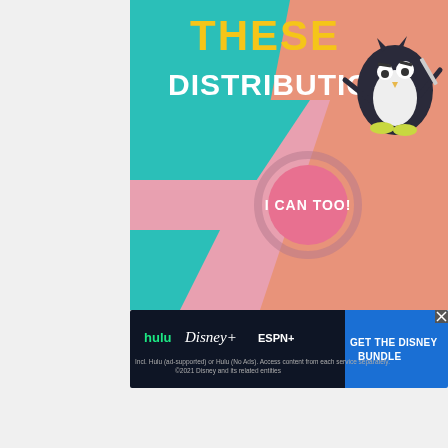[Figure (illustration): Colorful promotional graphic with teal, pink, and salmon/orange geometric shapes and a cartoon ninja penguin character. Text reads 'THESE DISTRIBUTIONS!' in orange and white bold letters. A pink circle button says 'I CAN TOO!' in white. Abstract arrow shapes in teal and pink overlay a salmon gradient background.]
[Figure (illustration): Hulu Disney+ ESPN+ advertisement banner. Dark background with logos for Hulu, Disney+, and ESPN+. Blue button on right reads 'GET THE DISNEY BUNDLE'. Small text below reads 'Incl. Hulu (ad-supported) or Hulu (No Ads). Access content from each service separately. ©2021 Disney and its related entities'. Small X close button in top right.]